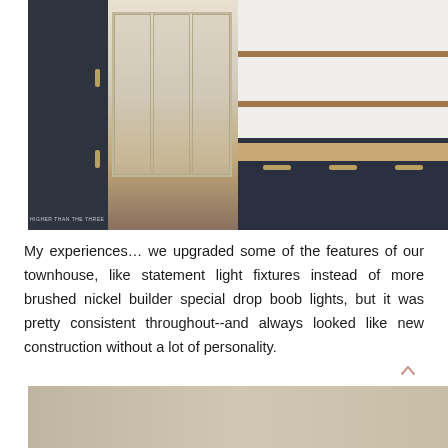[Figure (photo): Collage of two kitchen photos: left shows dark navy cabinets with brass handles, glass-front upper cabinets, dining table and chairs, plants; right shows white subway tile backsplash, open wooden shelves with decor, dark lower cabinets with brass hardware and butcher block countertop.]
My experiences… we upgraded some of the features of our townhouse, like statement light fixtures instead of more brushed nickel builder special drop boob lights, but it was pretty consistent throughout--and always looked like new construction without a lot of personality.
[Figure (photo): Bottom portion of a room photo showing a light beige/tan wall or surface.]